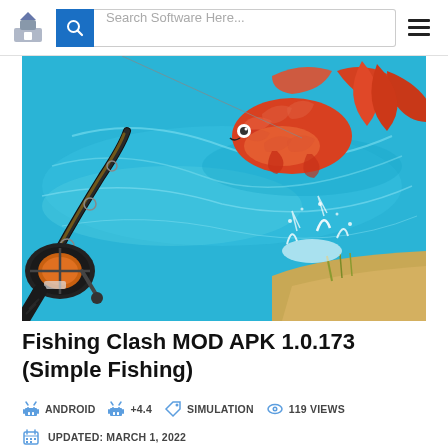Search Software Here...
[Figure (photo): A fishing game screenshot showing a fishing rod with reel on the left side and a large red/orange fish leaping from blue water with splashing effects]
Fishing Clash MOD APK 1.0.173 (Simple Fishing)
ANDROID  +4.4  SIMULATION  119 VIEWS
UPDATED: MARCH 1, 2022